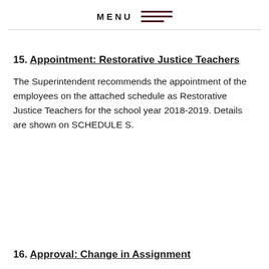MENU
15. Appointment: Restorative Justice Teachers
The Superintendent recommends the appointment of the employees on the attached schedule as Restorative Justice Teachers for the school year 2018-2019. Details are shown on SCHEDULE S.
16. Approval: Change in Assignment